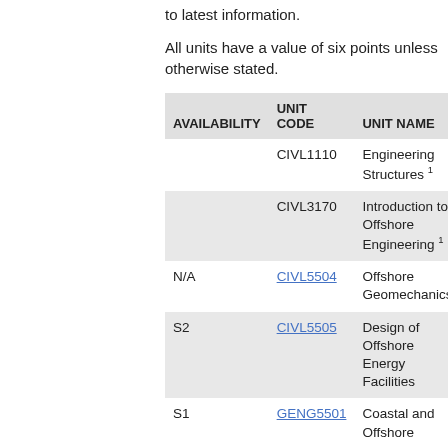to latest information.
All units have a value of six points unless otherwise stated.
| AVAILABILITY | UNIT CODE | UNIT NAME |
| --- | --- | --- |
|  | CIVL1110 | Engineering Structures 1 |
|  | CIVL3170 | Introduction to Offshore Engineering 1 |
| N/A | CIVL5504 | Offshore Geomechanics |
| S2 | CIVL5505 | Design of Offshore Energy Facilities |
| S1 | GENG5501 | Coastal and Offshore |